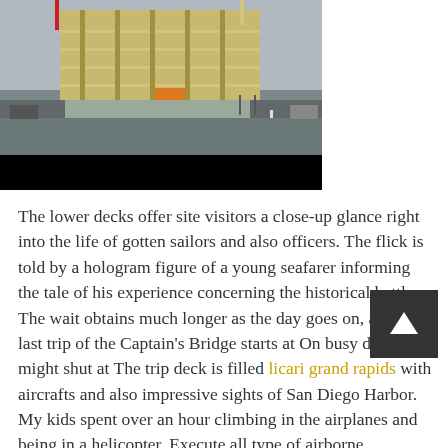[Figure (photo): Aerial drone photo of a large multi-story building under construction at an urban intersection, with scaffolding, exposed concrete floors, and construction cranes. Below the photo is a black bar (caption area).]
The lower decks offer site visitors a close-up glance right into the life of gotten sailors and also officers. The flick is told by a hologram figure of a young seafarer informing the tale of his experience concerning the historical battle. The wait obtains much longer as the day goes on, and the last trip of the Captain's Bridge starts at On busy days, the might shut at The trip deck is filled licari grand rapids with aircrafts and also impressive sights of San Diego Harbor. My kids spent over an hour climbing in the airplanes and being in a helicopter. Execute all type of airborne balancings